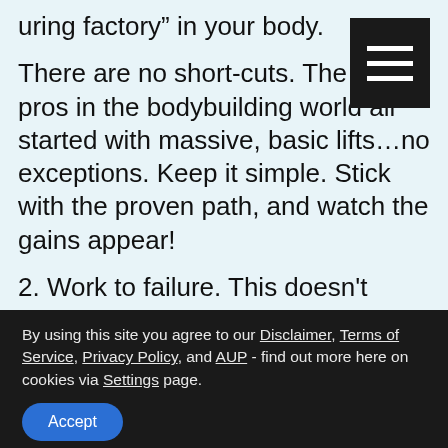uring factory” in your body.
There are no short-cuts. The top pros in the bodybuilding world all started with massive, basic lifts…no exceptions. Keep it simple. Stick with the proven path, and watch the gains appear!
2. Work to failure. This doesn’t mean injure yourself. But it does say that in most workouts, we tend to quit a bit early, while we still have at least one or two more reps we could squeeze out.
Get serious. An extra rep or two may be a bit
By using this site you agree to our Disclaimer, Terms of Service, Privacy Policy, and AUP - find out more here on cookies via Settings page.